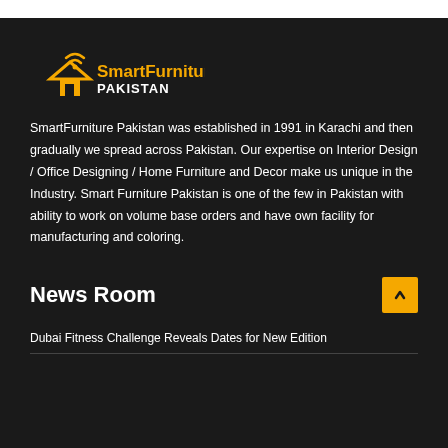[Figure (logo): SmartFurniture Pakistan logo with house/wifi icon in yellow and white text]
SmartFurniture Pakistan was established in 1991 in Karachi and then gradually we spread across Pakistan. Our expertise on Interior Design / Office Designing / Home Furniture and Decor make us unique in the Industry. Smart Furniture Pakistan is one of the few in Pakistan with ability to work on volume base orders and have own facility for manufacturing and coloring.
News Room
Dubai Fitness Challenge Reveals Dates for New Edition